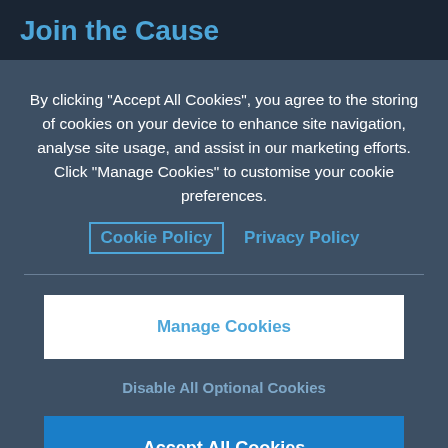Join the Cause
By clicking “Accept All Cookies”, you agree to the storing of cookies on your device to enhance site navigation, analyse site usage, and assist in our marketing efforts. Click “Manage Cookies” to customise your cookie preferences.
Cookie Policy   Privacy Policy
Manage Cookies
Disable All Optional Cookies
Accept All Cookies